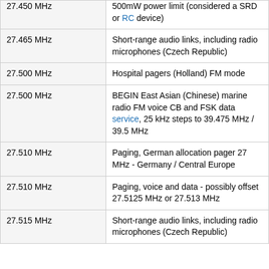| Frequency | Description |
| --- | --- |
| 27.450 MHz | 500mW power limit (considered a SRD or RC device) |
| 27.465 MHz | Short-range audio links, including radio microphones (Czech Republic) |
| 27.500 MHz | Hospital pagers (Holland) FM mode |
| 27.500 MHz | BEGIN East Asian (Chinese) marine radio FM voice CB and FSK data service, 25 kHz steps to 39.475 MHz / 39.5 MHz |
| 27.510 MHz | Paging, German allocation pager 27 MHz - Germany / Central Europe |
| 27.510 MHz | Paging, voice and data - possibly offset 27.5125 MHz or 27.513 MHz |
| 27.515 MHz | Short-range audio links, including radio microphones (Czech Republic) |